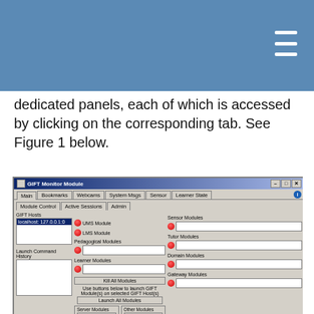[Figure (screenshot): Blue header bar with hamburger menu icon in the top-right corner]
dedicated panels, each of which is accessed by clicking on the corresponding tab. See Figure 1 below.
[Figure (screenshot): GIFT Monitor Module application window showing the Main tab with Module Control panel. Contains GIFT Hosts listbox (localhost:127.0.0.1:0 selected), UMS Module, LMS Module buttons with power icons, Pedagogical Modules section, Learner Modules section, Sensor Modules, Tutor Modules, Domain Modules, Gateway Modules text boxes, Kill All Modules button, Launch All Modules button, and Server Modules / Other Modules panels with Launch All, Launch UMS, Launch LMS, Launch Sensor, Launch Pedagogical buttons.]